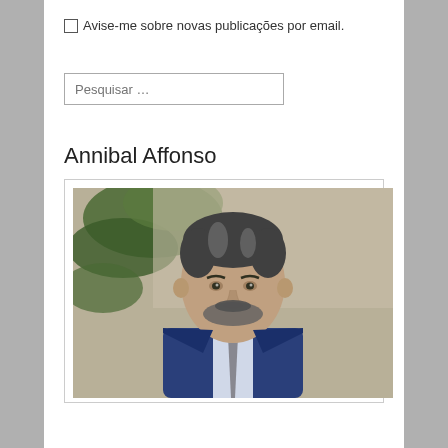Avise-me sobre novas publicações por email.
Pesquisar …
Annibal Affonso
[Figure (photo): Portrait photo of Annibal Affonso, a middle-aged man with gray-streaked hair and a beard, wearing a blue suit and gray striped tie, with palm trees and a stone wall in the background.]